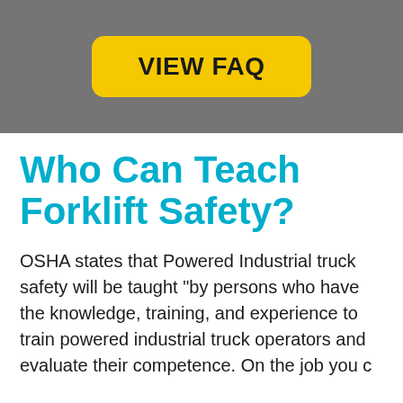[Figure (other): Yellow rounded button with text VIEW FAQ on a gray background]
Who Can Teach Forklift Safety?
OSHA states that Powered Industrial truck safety will be taught “by persons who have the knowledge, training, and experience to train powered industrial truck operators and evaluate their competence. On the job you c…